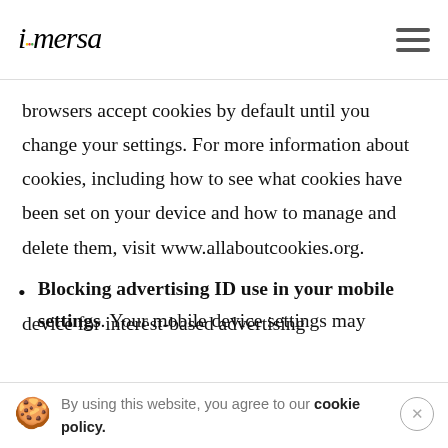immersa
browsers accept cookies by default until you change your settings. For more information about cookies, including how to see what cookies have been set on your device and how to manage and delete them, visit www.allaboutcookies.org.
Blocking advertising ID use in your mobile settings. Your mobile device settings may
By using this website, you agree to our cookie policy.
device for interest-based advertising